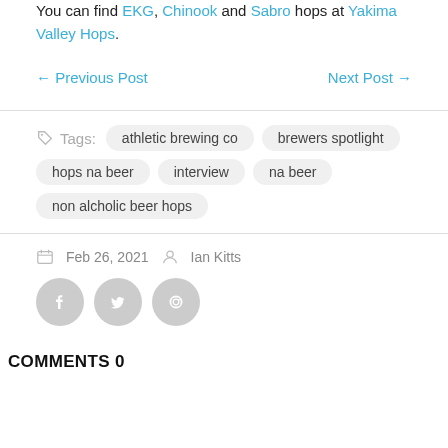You can find EKG, Chinook and Sabro hops at Yakima Valley Hops.
← Previous Post    Next Post →
Tags: athletic brewing co   brewers spotlight   hops na beer   interview   na beer   non alcholic beer hops
Feb 26, 2021   Ian Kitts
COMMENTS 0